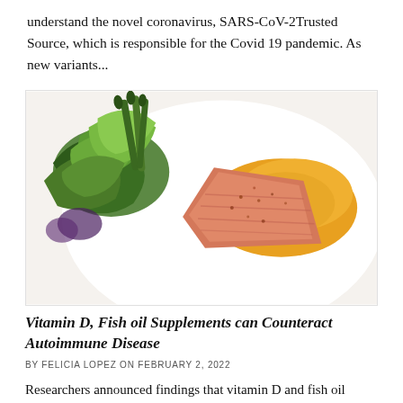understand the novel coronavirus, SARS-CoV-2Trusted Source, which is responsible for the Covid 19 pandemic. As new variants...
[Figure (photo): A plate with a pan-seared salmon fillet topped with an orange/yellow sauce, accompanied by a fresh green salad with mixed leafy greens on a white plate.]
Vitamin D, Fish oil Supplements can Counteract Autoimmune Disease
BY FELICIA LOPEZ ON FEBRUARY 2, 2022
Researchers announced findings that vitamin D and fish oil supplements two widely available and cheap